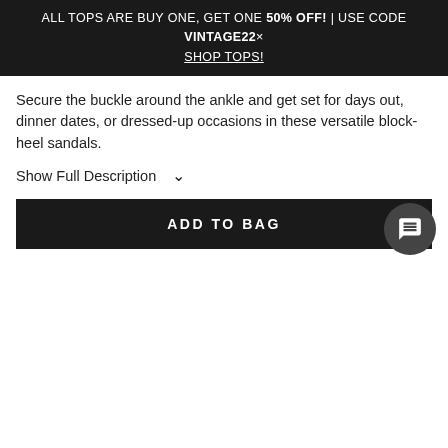ALL TOPS ARE BUY ONE, GET ONE 50% OFF! | USE CODE VINTAGE22× SHOP TOPS!
Secure the buckle around the ankle and get set for days out, dinner dates, or dressed-up occasions in these versatile block-heel sandals.
Show Full Description ∨
ADD TO BAG
This website stores cookies on your computer. These cookies are used to collect information about how you interact with our website which we use to improve and customize your experience as well as for analytic and marketing purposes. To find out more about the cookies we use and how to change your cookie settings, see our Privacy Policy. By continuing to use this site without changing your settings, you consent to our use of cookies.
I AGREE